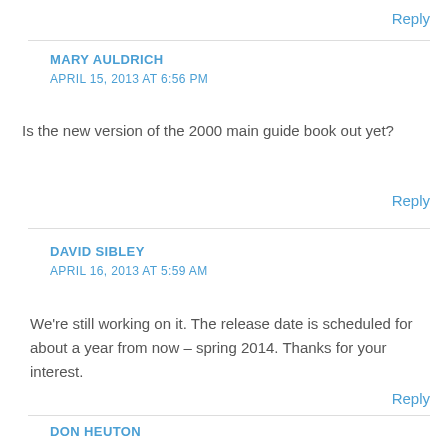Reply
MARY AULDRICH
APRIL 15, 2013 AT 6:56 PM
Is the new version of the 2000 main guide book out yet?
Reply
DAVID SIBLEY
APRIL 16, 2013 AT 5:59 AM
We're still working on it. The release date is scheduled for about a year from now – spring 2014. Thanks for your interest.
Reply
DON HEUTON